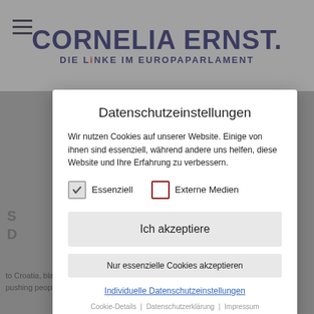CORNELIA ERNST. DIE LINKE IM EUROPAPARLAMENT
Datenschutzeinstellungen
Wir nutzen Cookies auf unserer Website. Einige von ihnen sind essenziell, während andere uns helfen, diese Website und Ihre Erfahrung zu verbessern.
Essenziell
Externe Medien
Ich akzeptiere
Nur essenzielle Cookies akzeptieren
Individuelle Datenschutzeinstellungen
Cookie-Details | Datenschutzerklärung | Impressum
to Croatia, blatant human rights violations by the Croatian border police who was pushing people back on a daily basis. In all our conversations back then, we did